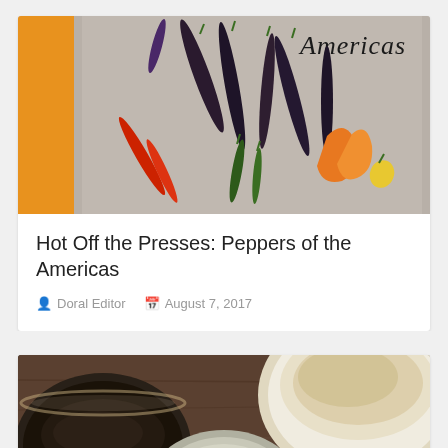[Figure (photo): Photo of various peppers of the Americas on a gray surface with an orange bar on the left side. Text 'Americas' visible in upper right.]
Hot Off the Presses: Peppers of the Americas
Doral Editor   August 7, 2017
[Figure (photo): Photo of food bowls on a wooden surface — a dark bowl with liquid, a light bowl with powder/spice, and a gray bowl.]